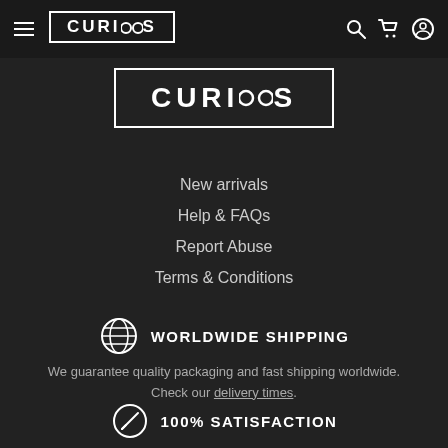CURIOOS — navigation bar with hamburger menu, logo, search, cart, and account icons
[Figure (logo): CURIOOS logo in a rectangular border, large centered]
New arrivals
Help & FAQs
Report Abuse
Terms & Conditions
WORLDWIDE SHIPPING
We guarantee quality packaging and fast shipping worldwide. Check our delivery times.
100% SATISFACTION
If you are not satisfied with your purchase for any reason, we